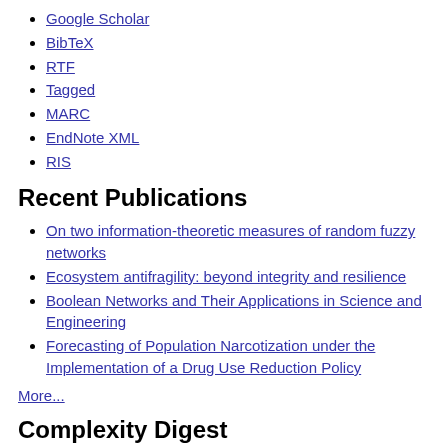Google Scholar
BibTeX
RTF
Tagged
MARC
EndNote XML
RIS
Recent Publications
On two information-theoretic measures of random fuzzy networks
Ecosystem antifragility: beyond integrity and resilience
Boolean Networks and Their Applications in Science and Engineering
Forecasting of Population Narcotization under the Implementation of a Drug Use Reduction Policy
More...
Complexity Digest
WikiArtVectors: Style and Color Representations of Artworks for Cultural Analysis via Information Theoretic